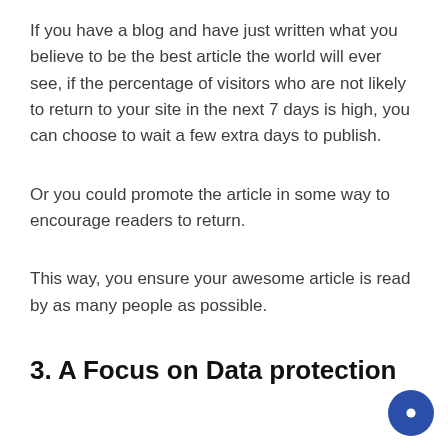If you have a blog and have just written what you believe to be the best article the world will ever see, if the percentage of visitors who are not likely to return to your site in the next 7 days is high, you can choose to wait a few extra days to publish.
Or you could promote the article in some way to encourage readers to return.
This way, you ensure your awesome article is read by as many people as possible.
3. A Focus on Data protection